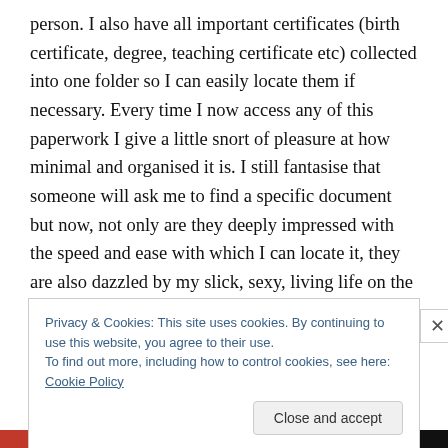person. I also have all important certificates (birth certificate, degree, teaching certificate etc) collected into one folder so I can easily locate them if necessary. Every time I now access any of this paperwork I give a little snort of pleasure at how minimal and organised it is. I still fantasise that someone will ask me to find a specific document but now, not only are they deeply impressed with the speed and ease with which I can locate it, they are also dazzled by my slick, sexy, living life on the edge, minimalist approach to paperwork. And then they fall in love with me and we live happily ever after. The end.
Privacy & Cookies: This site uses cookies. By continuing to use this website, you agree to their use.
To find out more, including how to control cookies, see here: Cookie Policy